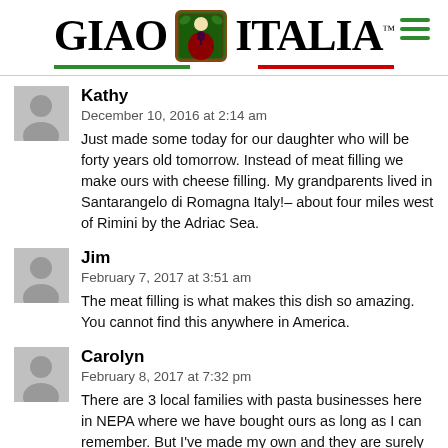GIAO ITALIA
Kathy
December 10, 2016 at 2:14 am
Just made some today for our daughter who will be forty years old tomorrow. Instead of meat filling we make ours with cheese filling. My grandparents lived in Santarangelo di Romagna Italy!– about four miles west of Rimini by the Adriac Sea.
Jim
February 7, 2017 at 3:51 am
The meat filling is what makes this dish so amazing. You cannot find this anywhere in America.
Carolyn
February 8, 2017 at 7:32 pm
There are 3 local families with pasta businesses here in NEPA where we have bought ours as long as I can remember. But I've made my own and they are surely a treat, although a lot of work. That's why